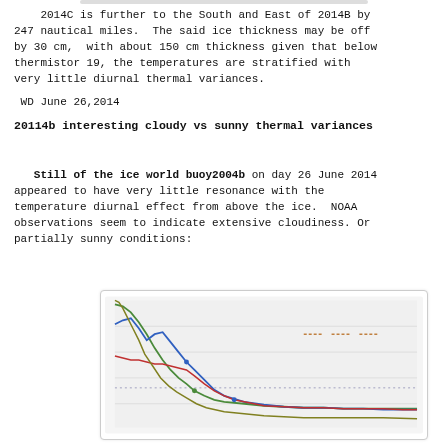2014C is further to the South and East of 2014B by 247 nautical miles.  The said ice thickness may be off by 30 cm,  with about 150 cm thickness given that below thermistor 19, the temperatures are stratified with very little diurnal thermal variances.
WD June 26,2014
20114b interesting cloudy vs sunny thermal variances
Still of the ice world buoy2004b on day 26 June 2014 appeared to have very little resonance with the temperature diurnal effect from above the ice.  NOAA observations seem to indicate extensive cloudiness. Or partially sunny conditions:
[Figure (continuous-plot): Line chart showing temperature profiles over time with multiple colored lines (green, blue, red, olive/dark yellow) that start high on the left and descend steeply before leveling off to the right. The lines represent different thermistor or depth readings from buoy2004b.]